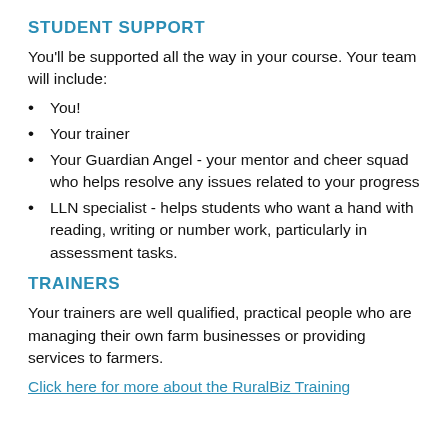STUDENT SUPPORT
You'll be supported all the way in your course. Your team will include:
You!
Your trainer
Your Guardian Angel - your mentor and cheer squad who helps resolve any issues related to your progress
LLN specialist - helps students who want a hand with reading, writing or number work, particularly in assessment tasks.
TRAINERS
Your trainers are well qualified, practical people who are managing their own farm businesses or providing services to farmers.
Click here for more about the RuralBiz Training